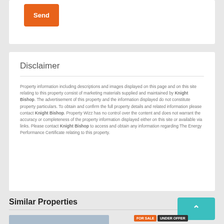[Figure (other): Orange Send button on white card]
Disclaimer
Property information including descriptions and images displayed on this page and on this site relating to this property consist of marketing materials supplied and maintained by Knight Bishop. The advertisement of this property and the information displayed do not constitute property particulars. To obtain and confirm the full property details and related information please contact Knight Bishop. Property Wizz has no control over the content and does not warrant the accuracy or completeness of the property information displayed either on this site or available via links. Please contact Knight Bishop to access and obtain any information regarding The Energy Performance Certificate relating to this property.
Similar Properties
[Figure (photo): Property thumbnail image with FOR SALE and UNDER OFFER badges]